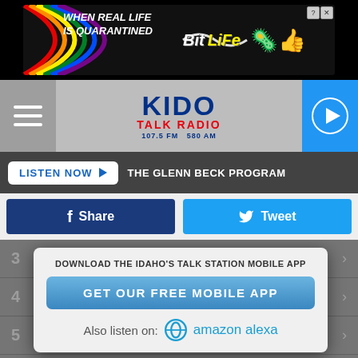[Figure (screenshot): Advertisement banner for BitLife app with text 'WHEN REAL LIFE IS QUARANTINED' and BitLife logo, close button]
[Figure (logo): KIDO Talk Radio logo - 107.5 FM 580 AM with hamburger menu and play button]
LISTEN NOW  THE GLENN BECK PROGRAM
Share
Tweet
DOWNLOAD THE IDAHO'S TALK STATION MOBILE APP
GET OUR FREE MOBILE APP
Also listen on:  amazon alexa
3. RADIO
4. MOST POPULAR PODCASTS
5. BEST PORTABLE RADIOS